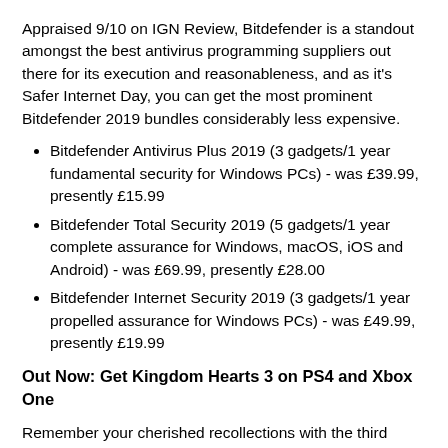Appraised 9/10 on IGN Review, Bitdefender is a standout amongst the best antivirus programming suppliers out there for its execution and reasonableness, and as it's Safer Internet Day, you can get the most prominent Bitdefender 2019 bundles considerably less expensive.
Bitdefender Antivirus Plus 2019 (3 gadgets/1 year fundamental security for Windows PCs) - was £39.99, presently £15.99
Bitdefender Total Security 2019 (5 gadgets/1 year complete assurance for Windows, macOS, iOS and Android) - was £69.99, presently £28.00
Bitdefender Internet Security 2019 (3 gadgets/1 year propelled assurance for Windows PCs) - was £49.99, presently £19.99
Out Now: Get Kingdom Hearts 3 on PS4 and Xbox One
Remember your cherished recollections with the third release of Kingdom Hearts, highlighting the as good as ever amusements of Disney universes. This diversion was portrayed as "a satisfying development and goals of the establishment that demonstrates it's still loaded with heart" on IGN survey, while scoring 8.7/10. It is presently accessible on PS4 and Xbox One. See beneath for the least expensive